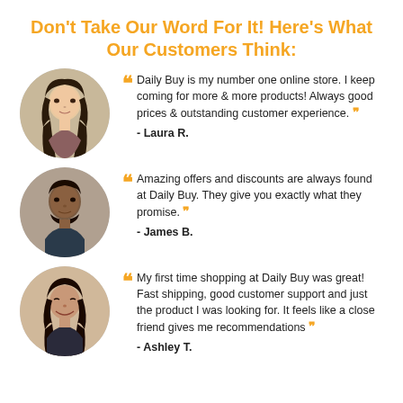Don't Take Our Word For It! Here's What Our Customers Think:
“ Daily Buy is my number one online store. I keep coming for more & more products! Always good prices & outstanding customer experience. ” - Laura R.
“ Amazing offers and discounts are always found at Daily Buy. They give you exactly what they promise. ” - James B.
“ My first time shopping at Daily Buy was great! Fast shipping, good customer support and just the product I was looking for. It feels like a close friend gives me recommendations ” - Ashley T.